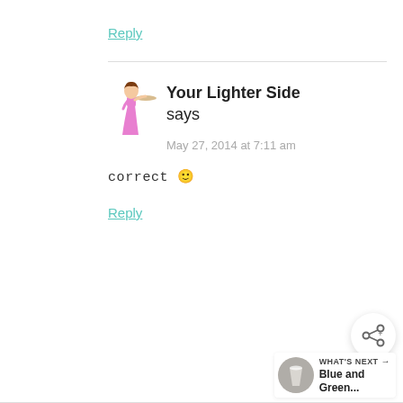Reply
Your Lighter Side says
May 27, 2014 at 7:11 am
correct 🙂
Reply
[Figure (other): Share button icon (social share with plus)]
[Figure (other): What's Next panel with thumbnail image showing Blue and Green...]